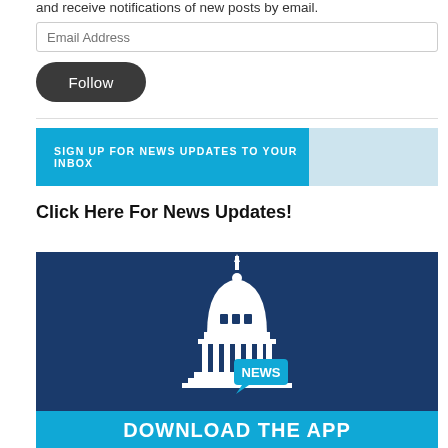and receive notifications of new posts by email.
Email Address
Follow
[Figure (infographic): Blue banner with text 'SIGN UP FOR NEWS UPDATES TO YOUR INBOX' and light blue section on right]
Click Here For News Updates!
[Figure (infographic): Dark blue banner with white capitol building illustration and 'NEWS' speech bubble, bottom stripe reads 'DOWNLOAD THE APP' in white bold text on blue background]